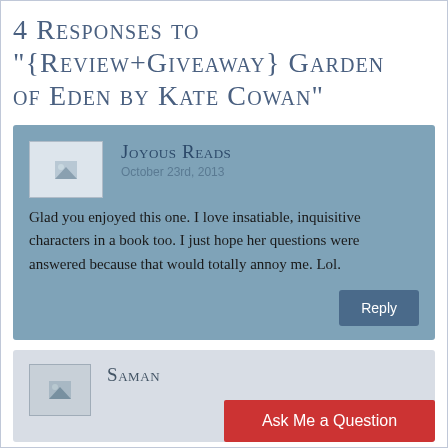4 Responses to “{Review+Giveaway} Garden of Eden by Kate Cowan”
Joyous Reads
October 23rd, 2013
Glad you enjoyed this one. I love insatiable, inquisitive characters in a book too. I just hope her questions were answered because that would totally annoy me. Lol.
Saman…